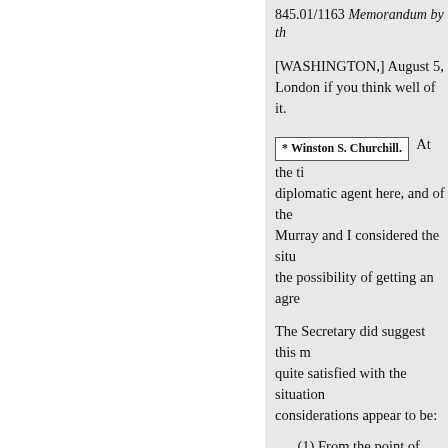845.01/1163 Memorandum by th
[WASHINGTON,] August 5, ... London if you think well of it.
* Winston S. Churchill.   At the ti diplomatic agent here, and of the Murray and I considered the situ the possibility of getting an agre
The Secretary did suggest this m quite satisfied with the situation considerations appear to be:
(1) From the point of view of would be very helpful.
(2) From the point of view of Nationalist movements, their fea advances as they have made, ma existed.
(3) From the economic point o which in conjunction with Austr building up a pretty formidable r